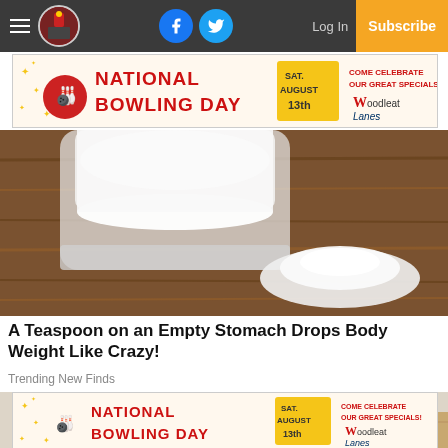Navigation bar with hamburger menu, logo, Facebook, Twitter icons, Log In, Subscribe
[Figure (other): National Bowling Day advertisement banner: red text, yellow date box Sat. August 13th, Come Celebrate our Great Specials!, Woodleat Lanes logo]
[Figure (photo): Photo of a glass jar filled with white powder (baking soda or similar) and a pile of white powder on a wooden table]
A Teaspoon on an Empty Stomach Drops Body Weight Like Crazy!
Trending New Finds
[Figure (photo): Photo of a hand holding a white bottle or container]
[Figure (other): National Bowling Day advertisement banner: red text, yellow date box Sat. August 13th, Come Celebrate our Great Specials!, Woodleat Lanes logo]